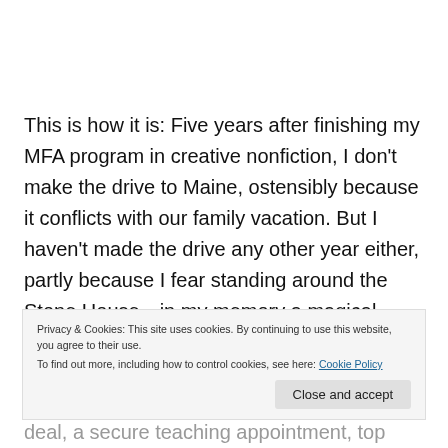This is how it is: Five years after finishing my MFA program in creative nonfiction, I don't make the drive to Maine, ostensibly because it conflicts with our family vacation. But I haven't made the drive any other year either, partly because I fear standing around the Stone House—in my memory a magical place where my dreams still live, undisturbed, and where my confidence partially remains,
Privacy & Cookies: This site uses cookies. By continuing to use this website, you agree to their use.
To find out more, including how to control cookies, see here: Cookie Policy
Close and accept
deal, a secure teaching appointment, top literary journals,